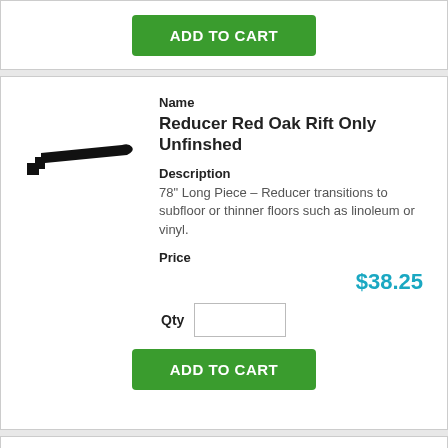[Figure (other): ADD TO CART green button at top of page (partial card)]
[Figure (illustration): Side profile silhouette of a wood floor reducer/transition molding piece, black on white background]
Name
Reducer Red Oak Rift Only Unfinshed
Description
78" Long Piece – Reducer transitions to subfloor or thinner floors such as linoleum or vinyl.
Price
$38.25
Qty
[Figure (other): ADD TO CART green button]